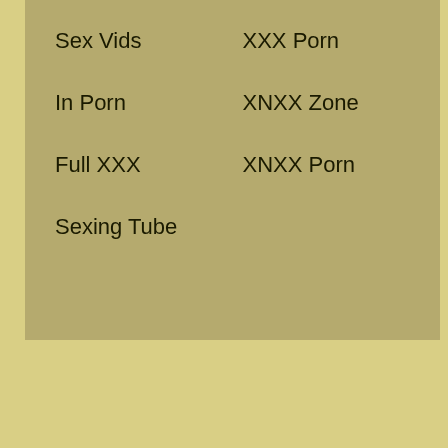Sex Vids
XXX Porn
In Porn
XNXX Zone
Full XXX
XNXX Porn
Sexing Tube